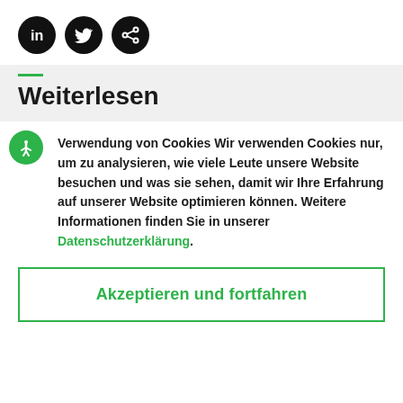[Figure (illustration): Three black circular social media icons: LinkedIn (in), Twitter (bird), and share (< symbol)]
Weiterlesen
Verwendung von Cookies Wir verwenden Cookies nur, um zu analysieren, wie viele Leute unsere Website besuchen und was sie sehen, damit wir Ihre Erfahrung auf unserer Website optimieren können. Weitere Informationen finden Sie in unserer Datenschutzerklärung.
Akzeptieren und fortfahren